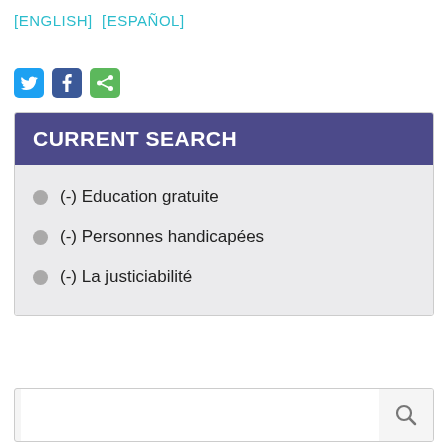[ENGLISH]  [ESPAÑOL]
[Figure (other): Social media sharing icons: Twitter (blue), Facebook (dark blue), Share (green)]
CURRENT SEARCH
(-) Education gratuite
(-) Personnes handicapées
(-) La justiciabilité
[Figure (other): Search bar with magnifying glass icon]